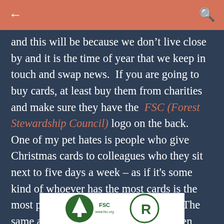← (back) | 🔍 (search)
and this will be because we don't live close by and it is the time of year that we keep in touch and swap news.  If you are going to buy cards, at least buy them from charities and make sure they have the  FSC (Forest Stewardship Council) logo on the back.  One of my pet hates is people who give Christmas cards to colleagues who they sit next to five days a week – as if it's some kind of whoever has the most cards is the most popular person at work contest.  The same applies to neighbours that are seen regularly.  Please stop it!
[Figure (logo): FSC Forest Stewardship Council logo partial view at bottom of page]